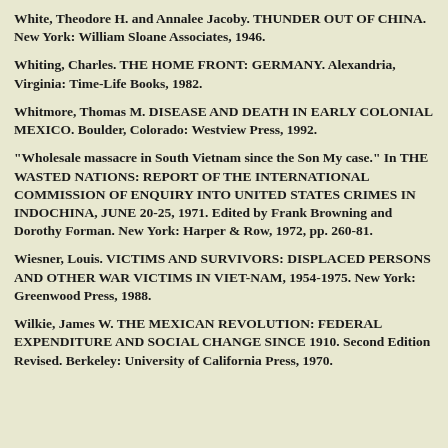White, Theodore H. and Annalee Jacoby. THUNDER OUT OF CHINA. New York: William Sloane Associates, 1946.
Whiting, Charles. THE HOME FRONT: GERMANY. Alexandria, Virginia: Time-Life Books, 1982.
Whitmore, Thomas M. DISEASE AND DEATH IN EARLY COLONIAL MEXICO. Boulder, Colorado: Westview Press, 1992.
"Wholesale massacre in South Vietnam since the Son My case." In THE WASTED NATIONS: REPORT OF THE INTERNATIONAL COMMISSION OF ENQUIRY INTO UNITED STATES CRIMES IN INDOCHINA, JUNE 20-25, 1971. Edited by Frank Browning and Dorothy Forman. New York: Harper & Row, 1972, pp. 260-81.
Wiesner, Louis. VICTIMS AND SURVIVORS: DISPLACED PERSONS AND OTHER WAR VICTIMS IN VIET-NAM, 1954-1975. New York: Greenwood Press, 1988.
Wilkie, James W. THE MEXICAN REVOLUTION: FEDERAL EXPENDITURE AND SOCIAL CHANGE SINCE 1910. Second Edition Revised. Berkeley: University of California Press, 1970.